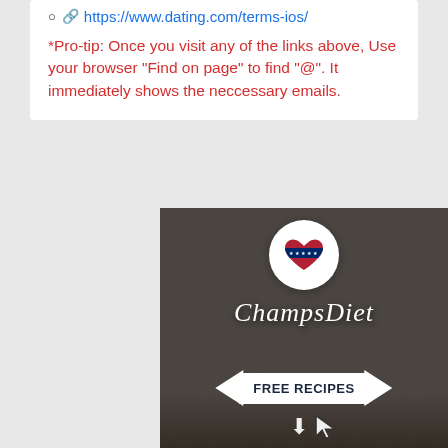🔗 https://www.dating.com/terms-ios/
*Pro-tip: Once you visit any of the links above, Use your browser "Find on page" to find "@". It immediately shows the neccessary emails.
[Figure (illustration): ChampsDiet advertisement banner with stone texture background, American flag heart logo, script text 'ChampsDiet', and 'FREE RECIPES' button with arrows pointing at it and a cursor icon.]